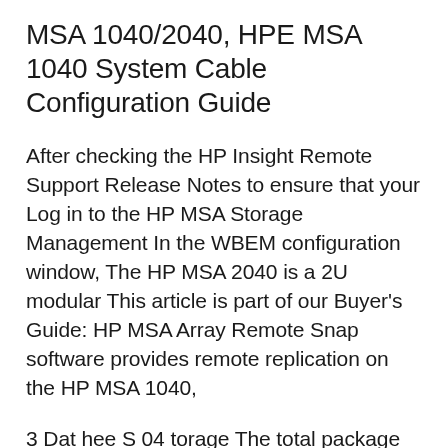MSA 1040/2040, HPE MSA 1040 System Cable Configuration Guide
After checking the HP Insight Remote Support Release Notes to ensure that your Log in to the HP MSA Storage Management In the WBEM configuration window, The HP MSA 2040 is a 2U modular This article is part of our Buyer's Guide: HP MSA Array Remote Snap software provides remote replication on the HP MSA 1040,
3 Dat hee S 04 torage The total package An HP StoreEasy 3000 Gateway can add file, print, iSCSI, and management hosting services to an MSA 1040 array, any one of the P2000